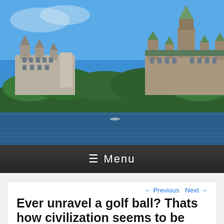[Figure (photo): Panoramic photo of Ottawa Parliament Hill and Château Laurier viewed from across the Ottawa River, with blue sky, green trees, and dark blue water in the foreground.]
≡ Menu
← Previous  Next →
Ever unravel a golf ball? Thats how civilization seems to be coming apart these days: Links 1 on Sept. 3 – 2015